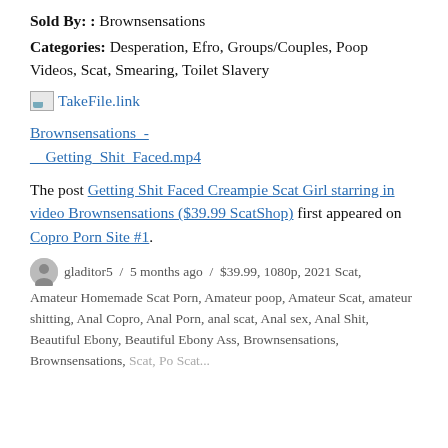Sold By: : Brownsensations
Categories: Desperation, Efro, Groups/Couples, Poop Videos, Scat, Smearing, Toilet Slavery
[Figure (other): Broken image placeholder with TakeFile.link text link]
Brownsensations_-__Getting_Shit_Faced.mp4 (link)
The post Getting Shit Faced Creampie Scat Girl starring in video Brownsensations ($39.99 ScatShop) first appeared on Copro Porn Site #1.
gladitor5 / 5 months ago / $39.99, 1080p, 2021 Scat, Amateur Homemade Scat Porn, Amateur poop, Amateur Scat, amateur shitting, Anal Copro, Anal Porn, anal scat, Anal sex, Anal Shit, Beautiful Ebony, Beautiful Ebony Ass, Brownsensations, Brownsensations, ...